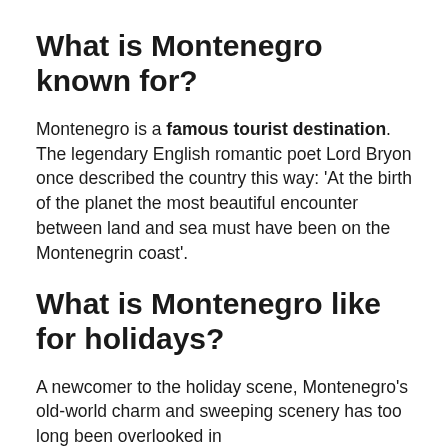What is Montenegro known for?
Montenegro is a famous tourist destination. The legendary English romantic poet Lord Bryon once described the country this way: ‘At the birth of the planet the most beautiful encounter between land and sea must have been on the Montenegrin coast’.
What is Montenegro like for holidays?
A newcomer to the holiday scene, Montenegro’s old-world charm and sweeping scenery has too long been overlooked in